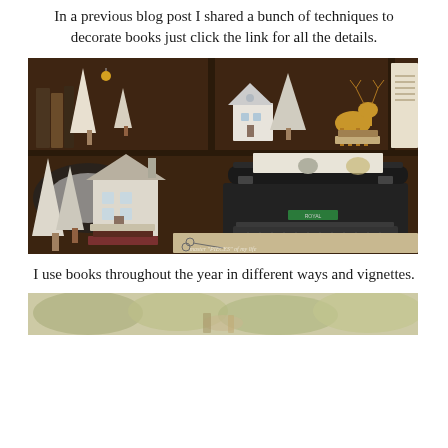In a previous blog post I shared a bunch of techniques to decorate books just click the link for all the details.
[Figure (photo): A decorated bookshelf scene with a vintage Royal typewriter, white bottle-brush Christmas trees, ceramic houses, a gold deer figurine, and stacked books arranged as a holiday vignette. Watermark reads: master PIECES of my life]
I use books throughout the year in different ways and vignettes.
[Figure (photo): Partial view of a spring or neutral vignette with greenery and decorative items on a light background.]